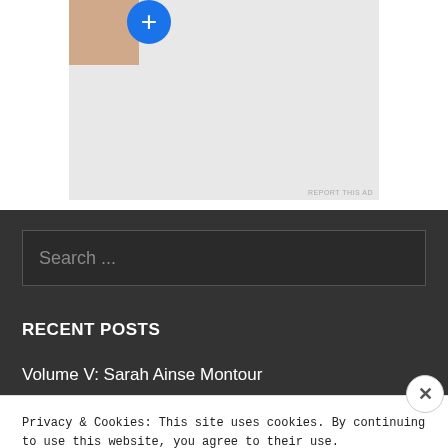[Figure (screenshot): Ad container with avatar photo and blue plus button on white background]
REPORT THIS AD
[Figure (screenshot): Search input box with placeholder text 'Search ...' on dark background]
RECENT POSTS
Volume V: Sarah Ainse Montour
Privacy & Cookies: This site uses cookies. By continuing to use this website, you agree to their use. To find out more, including how to control cookies, see here: Cookie Policy
Close and accept